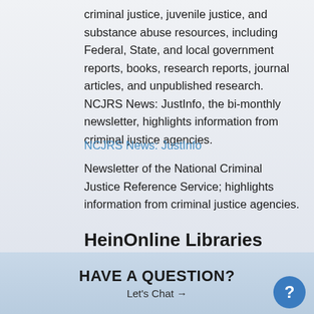criminal justice, juvenile justice, and substance abuse resources, including Federal, State, and local government reports, books, research reports, journal articles, and unpublished research. NCJRS News: JustInfo, the bi-monthly newsletter, highlights information from criminal justice agencies.
NCJRS News: JustInfo
Newsletter of the National Criminal Justice Reference Service; highlights information from criminal justice agencies.
HeinOnline Libraries
HAVE A QUESTION? Let's Chat →